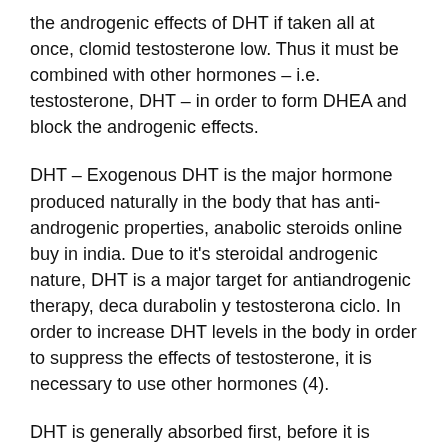the androgenic effects of DHT if taken all at once, clomid testosterone low. Thus it must be combined with other hormones – i.e. testosterone, DHT – in order to form DHEA and block the androgenic effects.
DHT – Exogenous DHT is the major hormone produced naturally in the body that has anti-androgenic properties, anabolic steroids online buy in india. Due to it's steroidal androgenic nature, DHT is a major target for antiandrogenic therapy, deca durabolin y testosterona ciclo. In order to increase DHT levels in the body in order to suppress the effects of testosterone, it is necessary to use other hormones (4).
DHT is generally absorbed first, before it is absorbed by the liver and then, when in the liver, is taken into the bloodstream. When being absorbed, it is absorbed in large